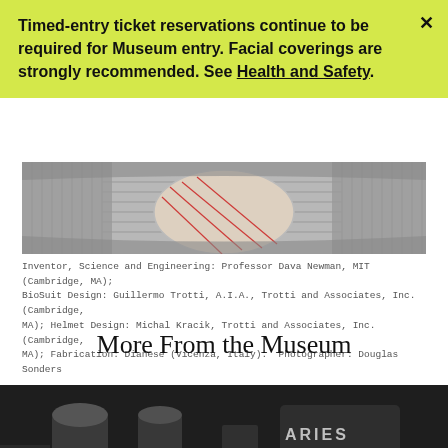Timed-entry ticket reservations continue to be required for Museum entry. Facial coverings are strongly recommended. See Health and Safety.
[Figure (photo): Close-up photo of a woven or mesh fabric structure, showing metallic/textured surface with a curved ovoid element bearing red diagonal lines, likely a biosuit component.]
Inventor, Science and Engineering: Professor Dava Newman, MIT (Cambridge, MA); BioSuit Design: Guillermo Trotti, A.I.A., Trotti and Associates, Inc. (Cambridge, MA); Helmet Design: Michal Kracik, Trotti and Associates, Inc. (Cambridge, MA); Fabrication: Dianese (Vicenza, Italy).  Photographer: Douglas Sonders
More From the Museum
[Figure (photo): Black and white photograph of various cylindrical objects and equipment, with 'ARIES' text visible, partially cropped at the bottom of the page. Overlaid text reads 'Library Fun Finds 5.10.22'.]